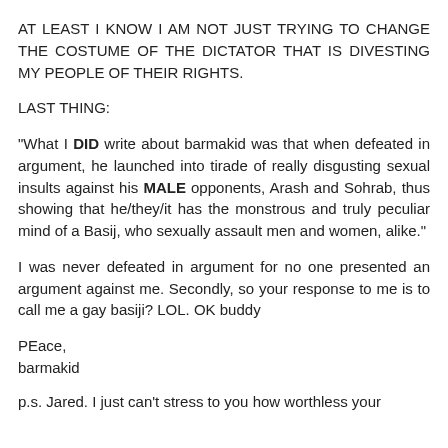AT LEAST I KNOW I AM NOT JUST TRYING TO CHANGE THE COSTUME OF THE DICTATOR THAT IS DIVESTING MY PEOPLE OF THEIR RIGHTS.
LAST THING:
"What I DID write about barmakid was that when defeated in argument, he launched into tirade of really disgusting sexual insults against his MALE opponents, Arash and Sohrab, thus showing that he/they/it has the monstrous and truly peculiar mind of a Basij, who sexually assault men and women, alike."
I was never defeated in argument for no one presented an argument against me. Secondly, so your response to me is to call me a gay basiji? LOL. OK buddy
PEace,
barmakid
p.s. Jared. I just can't stress to you how worthless your